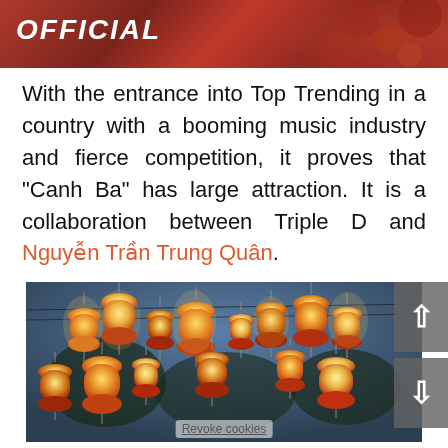[Figure (photo): A banner image with a dark red/brownish-red background showing the word OFFICIAL in bold italic white capital letters with decorative patterned elements on the right side.]
With the entrance into Top Trending in a country with a booming music industry and fierce competition, it proves that “Canh Ba” has large attraction. It is a collaboration between Triple D and Nguyễn Trần Trung Quân.
[Figure (photo): A photograph of colorful illuminated Vietnamese lanterns hanging outdoors against a dusk sky with trees and power lines visible in the background. The lanterns are yellow, red, and orange.]
Revoke cookies